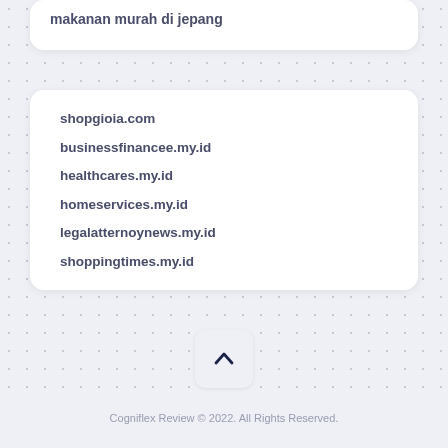makanan murah di jepang
shopgioia.com
businessfinancee.my.id
healthcares.my.id
homeservices.my.id
legalatternoynews.my.id
shoppingtimes.my.id
[Figure (other): Back to top chevron button]
Cogniflex Review © 2022. All Rights Reserved.